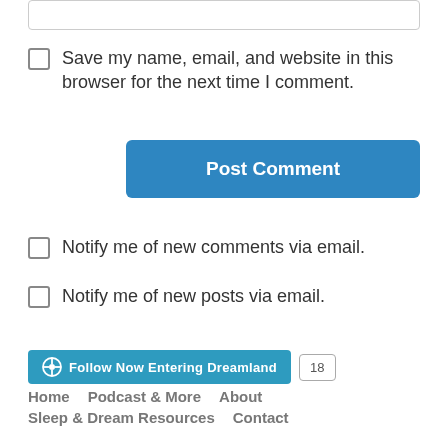Save my name, email, and website in this browser for the next time I comment.
Post Comment
Notify me of new comments via email.
Notify me of new posts via email.
Follow Now Entering Dreamland 18
Home  Podcast & More  About  Sleep & Dream Resources  Contact